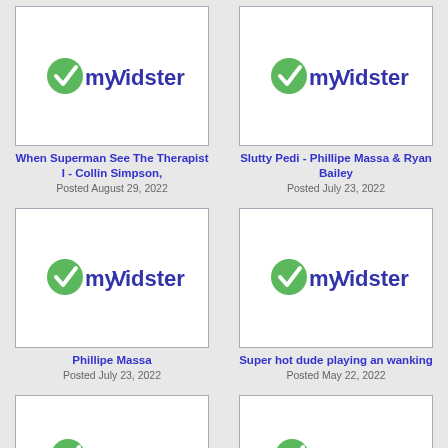[Figure (logo): myVidster logo placeholder thumbnail - top left]
When Superman See The Therapist I - Collin Simpson,
Posted August 29, 2022
[Figure (logo): myVidster logo placeholder thumbnail - top right]
Slutty Pedi - Phillipe Massa & Ryan Bailey
Posted July 23, 2022
[Figure (logo): myVidster logo placeholder thumbnail - middle left]
Phillipe Massa
Posted July 23, 2022
[Figure (logo): myVidster logo placeholder thumbnail - middle right]
Super hot dude playing an wanking
Posted May 22, 2022
[Figure (logo): myVidster logo placeholder thumbnail - bottom left]
[Figure (logo): myVidster logo placeholder thumbnail - bottom right]